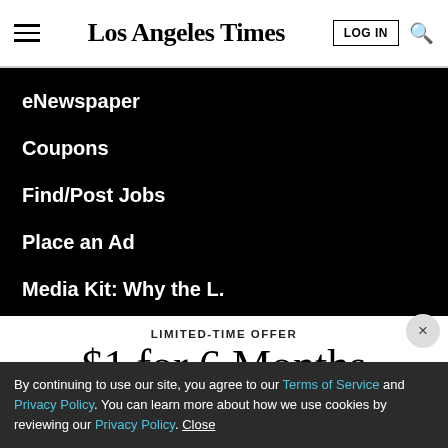Los Angeles Times
eNewspaper
Coupons
Find/Post Jobs
Place an Ad
Media Kit: Why the L.
LIMITED-TIME OFFER
$1 for 6 Months
SUBSCRIBE NOW
By continuing to use our site, you agree to our Terms of Service and Privacy Policy. You can learn more about how we use cookies by reviewing our Privacy Policy. Close